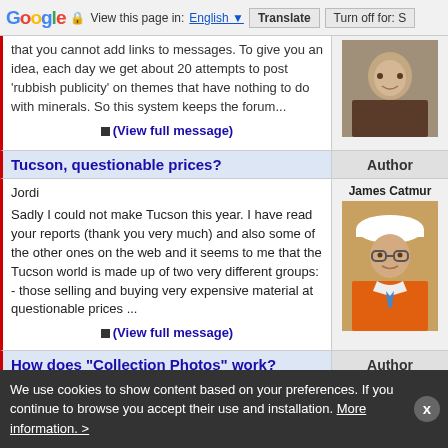Google  View this page in: English  Translate  Turn off for: S
that you cannot add links to messages. To give you an idea, each day we get about 20 attempts to post 'rubbish publicity' on themes that have nothing to do with minerals. So this system keeps the forum...
[Figure (photo): Profile photo of a young man]
(View full message)
Tucson, questionable prices?
Author
Jordi
James Catmur
[Figure (photo): Profile photo of James Catmur wearing a hard hat and orange vest]
Sadly I could not make Tucson this year. I have read your reports (thank you very much) and also some of the other ones on the web and it seems to me that the Tucson world is made up of two very different groups:
- those selling and buying very expensive material at questionable prices ...
(View full message)
How does "Collection Photos" work?
Author
We use cookies to show content based on your preferences. If you continue to browse you accept their use and installation.  More information. >